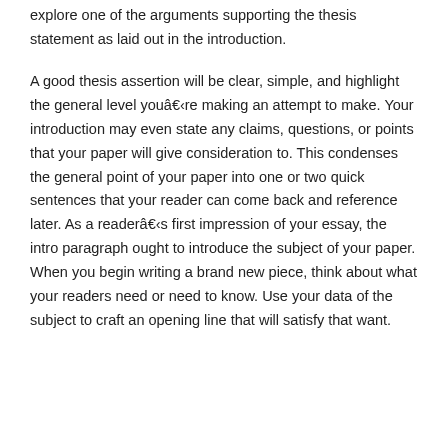explore one of the arguments supporting the thesis statement as laid out in the introduction.
A good thesis assertion will be clear, simple, and highlight the general level youâre making an attempt to make. Your introduction may even state any claims, questions, or points that your paper will give consideration to. This condenses the general point of your paper into one or two quick sentences that your reader can come back and reference later. As a readerâs first impression of your essay, the intro paragraph ought to introduce the subject of your paper. When you begin writing a brand new piece, think about what your readers need or need to know. Use your data of the subject to craft an opening line that will satisfy that want.